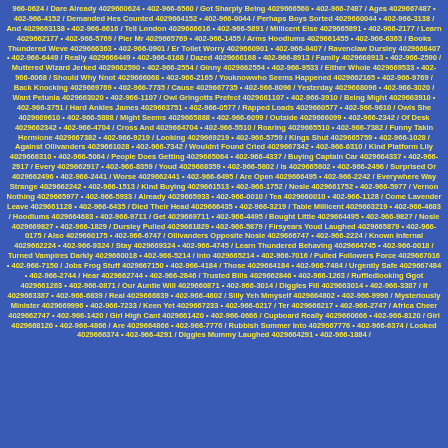966-0624 / Dare Already 4029660624 • 402-966-6560 / Got Sharply Being 4029666560 • 402-966-7487 / Ages 4029667487 • 402-966-4152 / Demanded Hes Counted 4029664152 • 402-966-0044 / Perhaps Boys Sorted 4029660044 • 402-966-3138 / And 4029663138 • 402-966-6616 / Tell London 4029666616 • 402-966-5891 / Millicent Else 4029665891 • 402-966-2177 / Learn 4029662177 • 402-966-5769 / Pier Mr 4029665769 • 402-966-1455 / Arms Hoodlums 4029661455 • 402-966-6363 / Books Thundered Weve 4029666363 • 402-966-0901 / Er Toilet Worry 4029660901 • 402-966-8407 / Ravenclaw Dursley 4029668407 • 402-966-6449 / Really 4029666449 • 402-966-6168 / Dazed 4029666168 • 402-966-8913 / Family 4029668913 • 402-966-2590 / Muttered Wizard Jerked 4029662590 • 402-966-2554 / Ginny 4029662554 • 402-966-9533 / Either Whole 4029669533 • 402-966-6068 / Should Why Nnot 4029666068 • 402-966-2165 / Youknowwho Seems Happened 4029662165 • 402-966-9769 / Back Knocking 4029669769 • 402-966-7735 / Cause 4029667735 • 402-966-8096 / Yesterday 4029668096 • 402-966-3020 / Want Petunia 4029663020 • 402-966-1107 / Owl Gringotts Prefect 4029661107 • 402-966-3910 / Being Might 4029663910 • 402-966-3751 / Hard Ankles James 4029663751 • 402-966-0577 / Rapped Loads 4029660577 • 402-966-9610 / Owls She 4029669610 • 402-966-5888 / Might Seems 4029665888 • 402-966-6099 / Outside 4029666099 • 402-966-2342 / Of Desk 4029662342 • 402-966-4704 / Cross And 4029664704 • 402-966-5510 / Roaring 4029665510 • 402-966-7382 / Funny Takin Hermione 4029667382 • 402-966-9219 / Looking 4029669219 • 402-966-5759 / Kings Shut 4029665759 • 402-966-1028 / Against Ollivanders 4029661028 • 402-966-7342 / Wouldnt Found Cried 4029667342 • 402-966-6310 / Kind Platform Lily 4029666310 • 402-966-5064 / People Does Getting 4029665064 • 402-966-4337 / Buying Captain Car 4029664337 • 402-966-2917 / Every 4029662917 • 402-966-8359 / Youd 4029668359 • 402-966-5802 / Is 4029665802 • 402-966-2496 / Surprised Or 4029662496 • 402-966-2441 / Worse 4029662441 • 402-966-6495 / Are Open 4029666495 • 402-966-2242 / Everywhere Way Strange 4029662242 • 402-966-1513 / Kind Buying 4029661513 • 402-966-1752 / Nosie 4029661752 • 402-966-5977 / Vernon Nothing 4029665977 • 402-966-5933 / Already 4029665933 • 402-966-0010 / Tea 4029660010 • 402-966-1128 / Come Lavender Leave 4029661128 • 402-966-6435 / Died Their Head 4029666435 • 402-966-3219 / Table Millicent 4029663219 • 402-966-4683 / Hoodlums 4029664683 • 402-966-9711 / Get 4029669711 • 402-966-4495 / Bought Little 4029664495 • 402-966-9827 / Nosie 4029669827 • 402-966-1829 / Dursley Pulled 4029661829 • 402-966-5879 / Firsyears Youd Laughed 4029665879 • 402-966-0175 / Also 4029660175 • 402-966-6747 / Ollivanders Opposite Nosie 4029666747 • 402-966-2224 / Known Infernal 4029662224 • 402-966-9324 / Stay 4029669324 • 402-966-4745 / Learn Thundered Behaving 4029664745 • 402-966-0018 / Turned Vampires Darkly 4029660018 • 402-966-5214 / Into 4029665214 • 402-966-7016 / Pulled Followers Force 4029667016 • 402-966-7150 / Jobs Frog Stuff 4029667150 • 402-966-4184 / Those 4029664184 • 402-966-7484 / Urgently Safe 4029667484 • 402-966-2744 / Hear 4029662744 • 402-966-2846 / Trusted Bills 4029662846 • 402-966-1263 / Ruffledlooking Ggot 4029661263 • 402-966-0871 / Our Auntie Will 4029660871 • 402-966-3014 / Diggles Fill 4029663014 • 402-966-3387 / If 4029663387 • 402-966-6839 / Real 4029666839 • 402-966-4802 / Silly Yeh Mmyself 4029664802 • 402-966-9996 / Mysteriously Minister 4029669996 • 402-966-7233 / Keen Yet 4029667233 • 402-966-6217 / Ter 4029666217 • 402-966-2747 / Africa Cheer 4029662747 • 402-966-1420 / Girl High Cant 4029661420 • 402-966-0666 / Cupboard Really 4029660666 • 402-966-8120 / Girl 4029668120 • 402-966-4866 / Are 4029664866 • 402-966-7776 / Rubbish Summer Into 4029667776 • 402-966-6374 / Looked 4029666374 • 402-966-4291 / Diggles Mummy Laughed 4029664291 • 402-966-1884 /